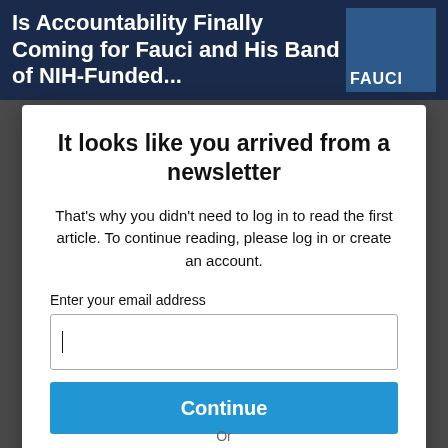[Figure (screenshot): Dark background with article headline text 'Is Accountability Finally Coming for Fauci and His Band of NIH-Funded...' and a book/movie cover image labeled FAUCI]
It looks like you arrived from a newsletter
That's why you didn't need to log in to read the first article. To continue reading, please log in or create an account.
Enter your email address
Continue
By continuing, you agree to the Terms of Service and acknowledge our Privacy Policy.
Or